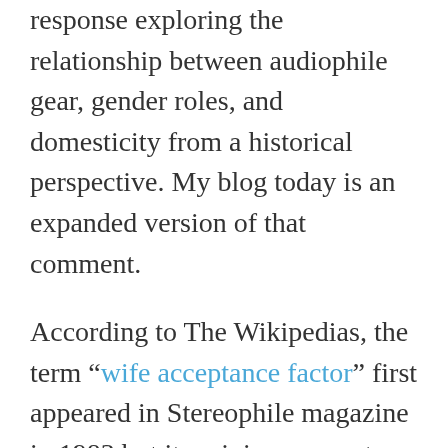response exploring the relationship between audiophile gear, gender roles, and domesticity from a historical perspective. My blog today is an expanded version of that comment.
According to The Wikipedias, the term “wife acceptance factor” first appeared in Stereophile magazine in 1983 but its origins appear to date to the 1950s. This makes the idea of the “wife acceptance factor” is so old school to almost be vintage. This notion has clear roots in the idea that women are in charge of the house and play a key role in establishing domesticity in the American home.